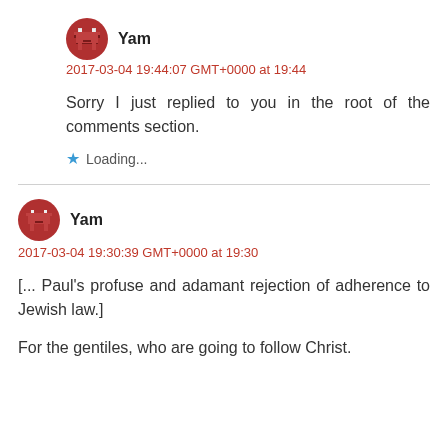Yam
2017-03-04 19:44:07 GMT+0000 at 19:44
Sorry I just replied to you in the root of the comments section.
Loading...
Yam
2017-03-04 19:30:39 GMT+0000 at 19:30
[... Paul's profuse and adamant rejection of adherence to Jewish law.]
For the gentiles, who are going to follow Christ.